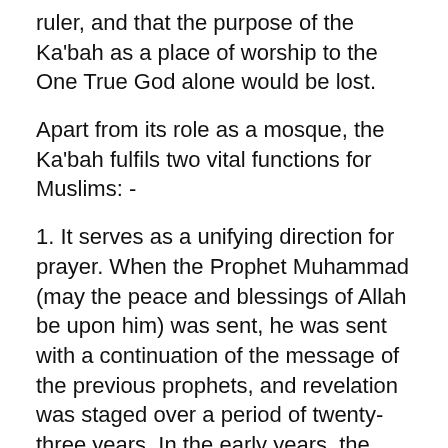compete in belittling the work of the previous ruler, and that the purpose of the Ka'bah as a place of worship to the One True God alone would be lost.
Apart from its role as a mosque, the Ka'bah fulfils two vital functions for Muslims: -
1. It serves as a unifying direction for prayer. When the Prophet Muhammad (may the peace and blessings of Allah be upon him) was sent, he was sent with a continuation of the message of the previous prophets, and revelation was staged over a period of twenty-three years. In the early years, the Muslims faced the direction of Jerusalem, following the example of the prophets sent to the Children of Israel. This was the same direction that the Jews of the city of Madeenah used to face in prayer. This troubled the Prophet from the